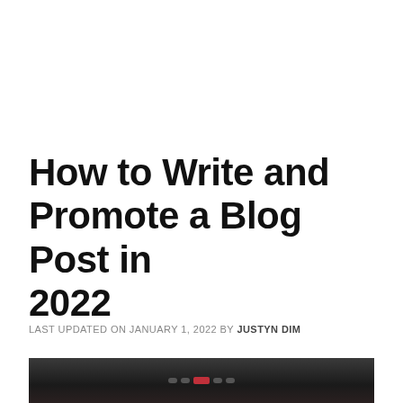How to Write and Promote a Blog Post in 2022
LAST UPDATED ON JANUARY 1, 2022 BY JUSTYN DIM
[Figure (photo): Dark photo strip showing a close-up of a device or laptop, partially visible at bottom of page]